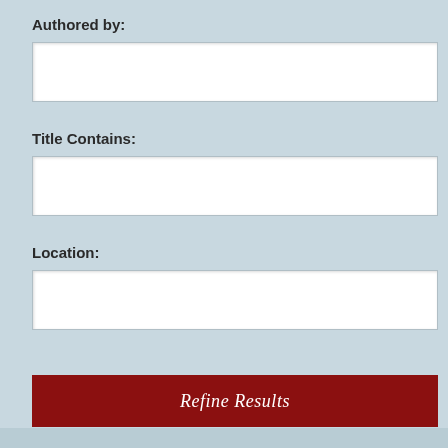Authored by:
[Figure (other): Empty text input field for Authored by]
Title Contains:
[Figure (other): Empty text input field for Title Contains]
Location:
[Figure (other): Empty text input field for Location]
Refine Results